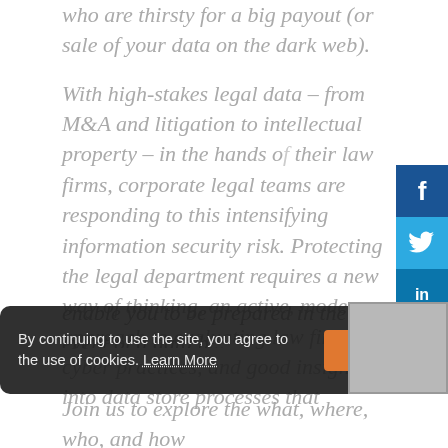who are thirsty for a big payout (or sale of your data on the dark web).
With high-stakes legal data – from M&A and litigation to intellectual property – in the hands of their law firms, corporate legal teams are responding to this intensifying information security risk. Protecting the legal department requires a new way of thinking, an active, modern approach to evaluating law firm cyber practices, and good insights into data store processes that enable you to be prepared in the event of a data b...
By continuing to use the site, you agree to the use of cookies. Learn More
Join us to explore the what, where, who, and how